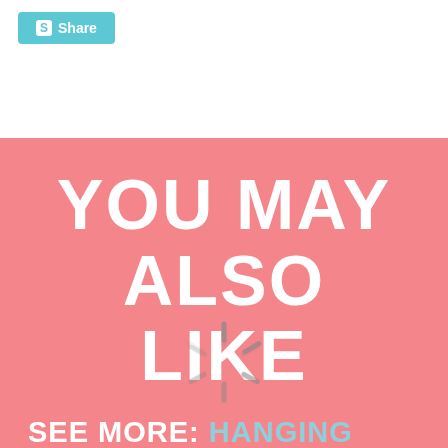[Figure (screenshot): Share button with Scribd-style icon, light blue background, white text reading 'Share']
[Figure (infographic): Pink banner with large white bold text 'YOU MAY ALSO LIKE', a loading spinner overlay, and light blue text 'SEE MORE: HANGING DECORATIONS']
YOU MAY ALSO LIKE
SEE MORE: HANGING DECORATIONS